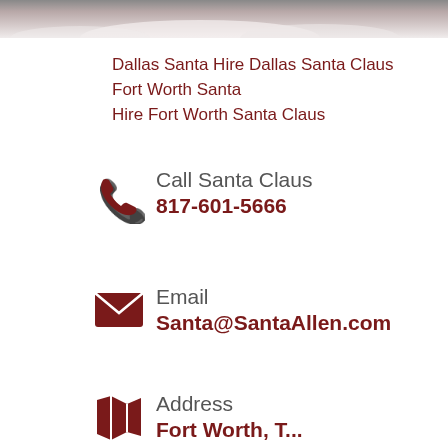[Figure (photo): Top portion of a Santa Claus photo showing white fur/beard, cropped at top of page]
Dallas Santa Hire Dallas Santa Claus
Fort Worth Santa
Hire Fort Worth Santa Claus
Call Santa Claus
817-601-5666
Email
Santa@SantaAllen.com
Address
Fort Worth, T...